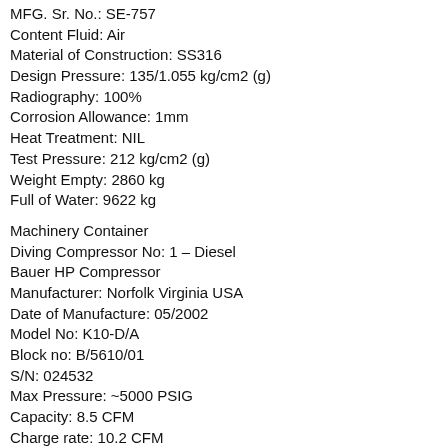MFG. Sr. No.: SE-757
Content Fluid: Air
Material of Construction: SS316
Design Pressure: 135/1.055 kg/cm2 (g)
Radiography: 100%
Corrosion Allowance: 1mm
Heat Treatment: NIL
Test Pressure: 212 kg/cm2 (g)
Weight Empty: 2860 kg
Full of Water: 9622 kg
Machinery Container
Diving Compressor No: 1 – Diesel
Bauer HP Compressor
Manufacturer: Norfolk Virginia USA
Date of Manufacture: 05/2002
Model No: K10-D/A
Block no: B/5610/01
S/N: 024532
Max Pressure: ~5000 PSIG
Capacity: 8.5 CFM
Charge rate: 10.2 CFM
Motor: 10 HP
Diving Compressor No. 2 – Electric/3 phase L&W
(Lenhardt & Wagner) HP Compressor
Manufacturer: Germany